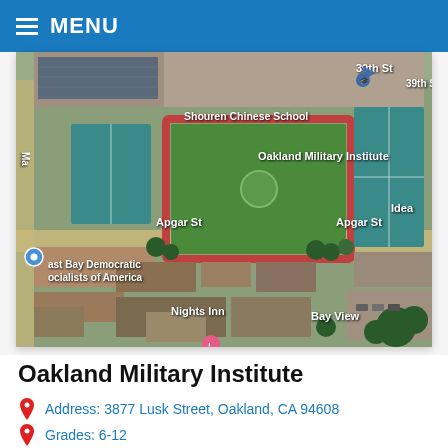MENU
[Figure (map): Aerial/satellite Google Maps view showing Oakland Military Institute location near 39th St, Apgar St, with surrounding landmarks: Shouren Chinese School, East Bay Democratic Socialists of America, Nights Inn, Bay View]
Oakland Military Institute
Address: 3877 Lusk Street, Oakland, CA 94608
Grades: 6-12
Teacher Ratio: 1 to 17